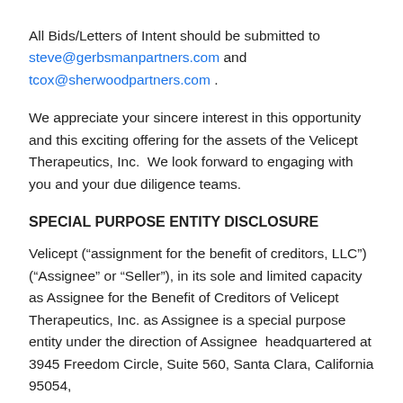All Bids/Letters of Intent should be submitted to steve@gerbsmanpartners.com and tcox@sherwoodpartners.com .
We appreciate your sincere interest in this opportunity and this exciting offering for the assets of the Velicept Therapeutics, Inc.  We look forward to engaging with you and your due diligence teams.
SPECIAL PURPOSE ENTITY DISCLOSURE
Velicept (“assignment for the benefit of creditors, LLC”) (“Assignee” or “Seller”), in its sole and limited capacity as Assignee for the Benefit of Creditors of Velicept Therapeutics, Inc. as Assignee is a special purpose entity under the direction of Assignee  headquartered at 3945 Freedom Circle, Suite 560, Santa Clara, California 95054,